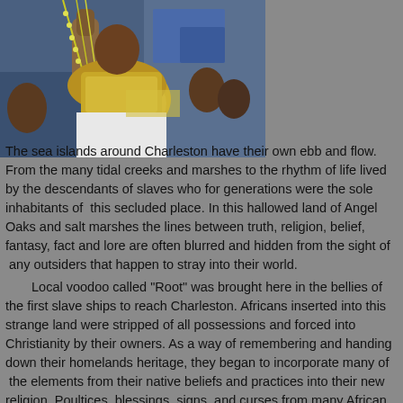[Figure (photo): A person in colorful, ornate costume with beads and decorations, holding something up, at what appears to be an event or festival. Photo is cropped to show upper body and arms.]
The sea islands around Charleston have their own ebb and flow. From the many tidal creeks and marshes to the rhythm of life lived by the descendants of slaves who for generations were the sole inhabitants of this secluded place. In this hallowed land of Angel Oaks and salt marshes the lines between truth, religion, belief, fantasy, fact and lore are often blurred and hidden from the sight of any outsiders that happen to stray into their world.

Local voodoo called "Root" was brought here in the bellies of the first slave ships to reach Charleston. Africans inserted into this strange land were stripped of all possessions and forced into Christianity by their owners. As a way of remembering and handing down their homelands heritage, they began to incorporate many of the elements from their native beliefs and practices into their new religion. Poultices, blessings, signs, and curses from many African tribes found there way to the South Carolina Lowcountry and over the years became inseparable from any single belief...